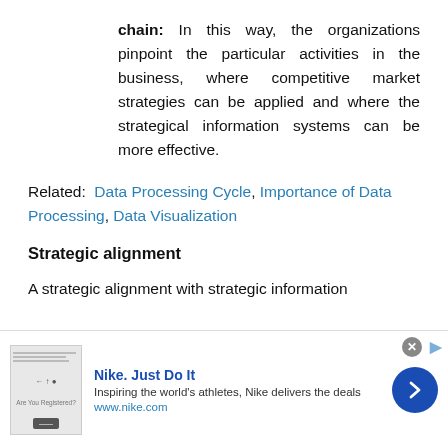chain: In this way, the organizations pinpoint the particular activities in the business, where competitive market strategies can be applied and where the strategical information systems can be more effective.
Related: Data Processing Cycle, Importance of Data Processing, Data Visualization
Strategic alignment
A strategic alignment with strategic information
[Figure (other): Advertisement banner for Nike. Just Do It — Inspiring the world's athletes, Nike delivers the deals — www.nike.com]